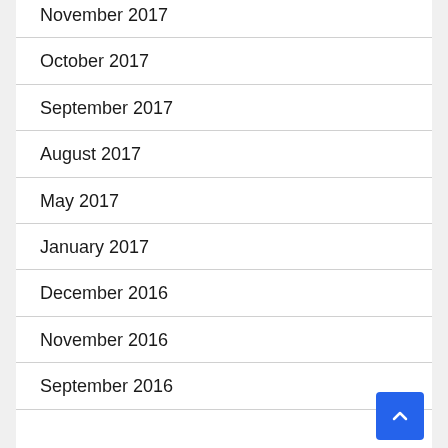November 2017
October 2017
September 2017
August 2017
May 2017
January 2017
December 2016
November 2016
September 2016